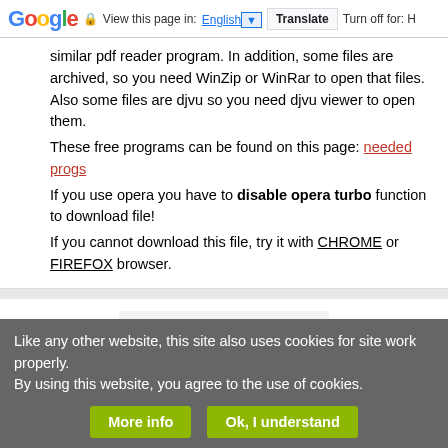Google — View this page in: English ▼  Translate  Turn off for: H
similar pdf reader program. In addition, some files are archived, so you need WinZip or WinRar to open that files. Also some files are djvu so you need djvu viewer to open them.
These free programs can be found on this page: needed progs
If you use opera you have to disable opera turbo function to download file!
If you cannot download this file, try it with CHROME or FIREFOX browser.
[Figure (screenshot): Google Translate widget with 'Translate this page:' label, language selector dropdown, and 'Powered by Google Translate' text]
Relevant DISHWASHER forum topics:
Indesit hwe71253 tén felélesztése után se megy a
Like any other website, this site also uses cookies for site work properly.
By using this website, you agree to the use of cookies.